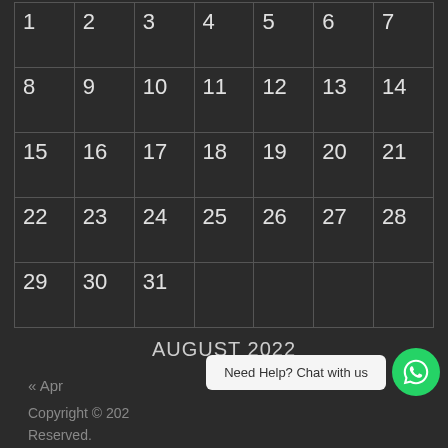|  |  |  |  |  |  |  |
| --- | --- | --- | --- | --- | --- | --- |
| 1 | 2 | 3 | 4 | 5 | 6 | 7 |
| 8 | 9 | 10 | 11 | 12 | 13 | 14 |
| 15 | 16 | 17 | 18 | 19 | 20 | 21 |
| 22 | 23 | 24 | 25 | 26 | 27 | 28 |
| 29 | 30 | 31 |  |  |  |  |
AUGUST 2022
« Apr
Copyright © 202... Rights Reserved.
Need Help? Chat with us